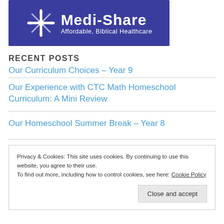[Figure (logo): Medi-Share logo on dark blue background with tagline 'Affordable, Biblical Healthcare']
RECENT POSTS
Our Curriculum Choices – Year 9
Our Experience with CTC Math Homeschool Curriculum: A Mini Review
Our Homeschool Summer Break – Year 8
Privacy & Cookies: This site uses cookies. By continuing to use this website, you agree to their use.
To find out more, including how to control cookies, see here: Cookie Policy
Close and accept